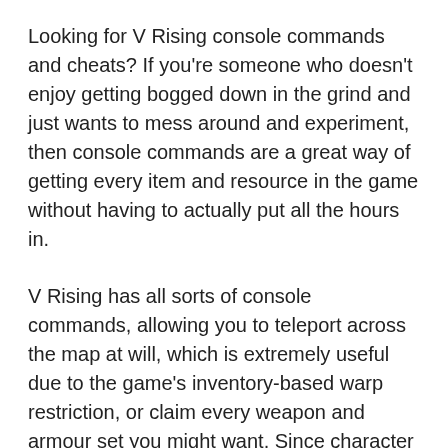Looking for V Rising console commands and cheats? If you're someone who doesn't enjoy getting bogged down in the grind and just wants to mess around and experiment, then console commands are a great way of getting every item and resource in the game without having to actually put all the hours in.
V Rising has all sorts of console commands, allowing you to teleport across the map at will, which is extremely useful due to the game's inventory-based warp restriction, or claim every weapon and armour set you might want. Since character level in V Rising is determined by how good your equipment is, you'll be able to go and fight anyone you want right from the outset.